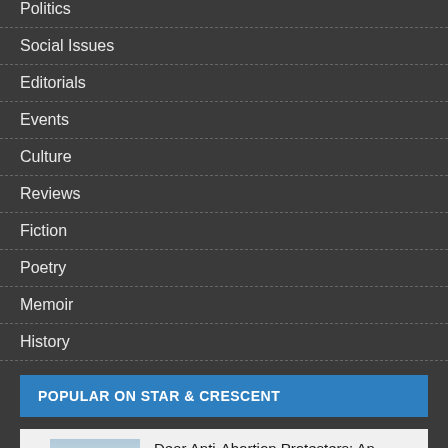Politics
Social Issues
Editorials
Events
Culture
Reviews
Fiction
Poetry
Memoir
History
POPULAR ON STAR & CRESCENT
[Figure (photo): Landscape photo showing horizon with sky and field]
Dear Anti-Abortion Protesters: An Open Letter to 40 Days For Life
5th October 2017